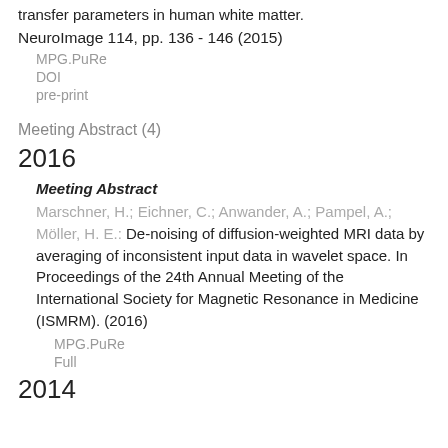transfer parameters in human white matter.
NeuroImage 114, pp. 136 - 146 (2015)
MPG.PuRe
DOI
pre-print
Meeting Abstract (4)
2016
Meeting Abstract
Marschner, H.; Eichner, C.; Anwander, A.; Pampel, A.; Möller, H. E.: De-noising of diffusion-weighted MRI data by averaging of inconsistent input data in wavelet space. In Proceedings of the 24th Annual Meeting of the International Society for Magnetic Resonance in Medicine (ISMRM). (2016)
MPG.PuRe
Full
2014